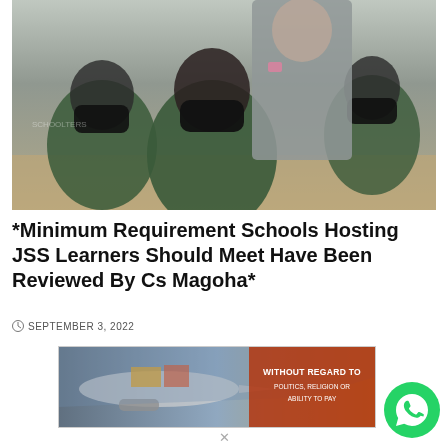[Figure (photo): Students in green school uniforms wearing black face masks seated in a classroom, with a person in a grey suit standing behind them.]
*Minimum Requirement Schools Hosting JSS Learners Should Meet Have Been Reviewed By Cs Magoha*
SEPTEMBER 3, 2022
[Figure (photo): Advertisement banner showing an airplane being loaded with cargo, with text overlay reading WITHOUT REGARD TO POLITICS, RELIGION OR ABILITY TO PAY]
[Figure (logo): WhatsApp logo button (green circle with phone handset icon)]